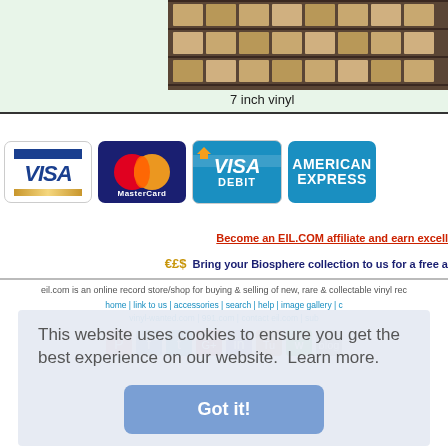[Figure (photo): Warehouse shelves stacked with boxes of vinyl records]
7 inch vinyl
[Figure (logo): VISA credit card logo]
[Figure (logo): MasterCard logo]
[Figure (logo): VISA DEBIT logo]
[Figure (logo): American Express logo]
Become an EIL.COM affiliate and earn excell
€£$ Bring your Biosphere collection to us for a free a
eil.com is an online record store/shop for buying & selling of new, rare & collectable vinyl rec
home | link to us | accessories | search | help | image gallery | c
vinyl-wanted.com | 991.com | contact eil.com | sub
©1996-2022 eil.com | privacy policy, cookies policy, ordering info
This website uses cookies to ensure you get the best experience on our website.  Learn more.
Got it!